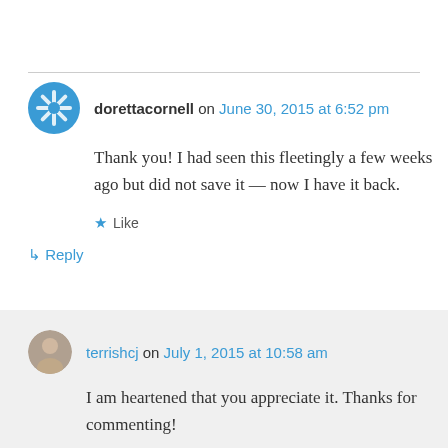dorettacornell on June 30, 2015 at 6:52 pm
Thank you! I had seen this fleetingly a few weeks ago but did not save it — now I have it back.
Like
↳ Reply
terrishcj on July 1, 2015 at 10:58 am
I am heartened that you appreciate it. Thanks for commenting!
Like